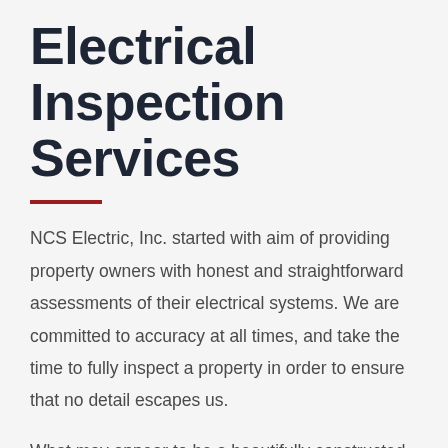Electrical Inspection Services
NCS Electric, Inc. started with aim of providing property owners with honest and straightforward assessments of their electrical systems. We are committed to accuracy at all times, and take the time to fully inspect a property in order to ensure that no detail escapes us.
What may appear to be a beautifully constructed home may have dozens of problems hidden behind walls, but without a thorough